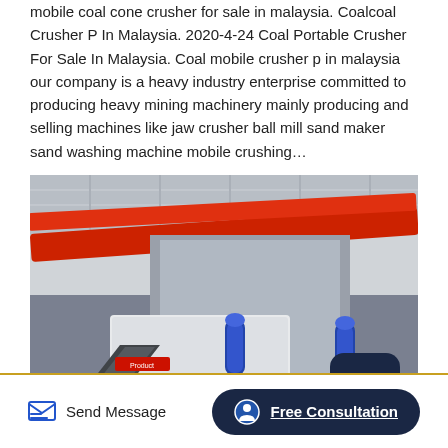mobile coal cone crusher for sale in malaysia. Coalcoal Crusher P In Malaysia. 2020-4-24 Coal Portable Crusher For Sale In Malaysia. Coal mobile crusher p in malaysia our company is a heavy industry enterprise committed to producing heavy mining machinery mainly producing and selling machines like jaw crusher ball mill sand maker sand washing machine mobile crushing…
[Figure (photo): Industrial photo of a mobile crushing machine inside a large factory/warehouse with orange overhead crane beams, conveyor belts, blue hydraulic components, and orange forklift visible in background.]
Send Message
Free Consultation